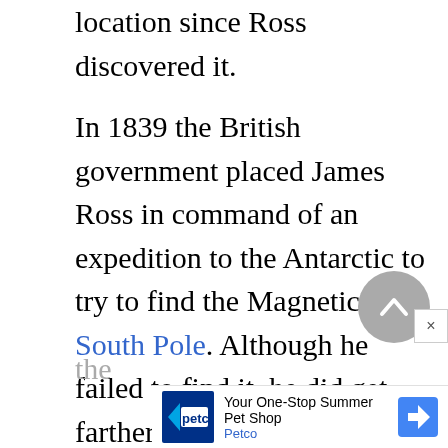location since Ross discovered it.

In 1839 the British government placed James Ross in command of an expedition to the Antarctic to try to find the Magnetic South Pole. Although he failed to find it, he did get farther south than any other British navigator at that time and surveyed and named major Antarctic landmasses. For these accomplishments, and his past successes, he was knighted and given the
[Figure (other): Gray circular scroll-to-top button with chevron/caret icon pointing upward, and a close (×) button to its right]
[Figure (other): Petco advertisement banner: 'Your One-Stop Summer Pet Shop' with Petco logo and blue diamond direction icon]